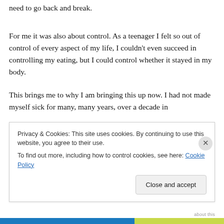need to go back and break.
For me it was also about control. As a teenager I felt so out of control of every aspect of my life, I couldn't even succeed in controlling my eating, but I could control whether it stayed in my body.
This brings me to why I am bringing this up now. I had not made myself sick for many, many years, over a decade in
Privacy & Cookies: This site uses cookies. By continuing to use this website, you agree to their use.
To find out more, including how to control cookies, see here: Cookie Policy
Close and accept